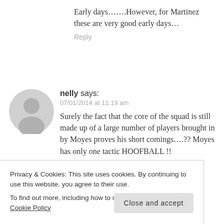Early days…….However, for Martinez these are very good early days…
Reply
nelly says:
07/01/2014 at 11:19 am
Surely the fact that the core of the squad is still made up of a large number of players brought in by Moyes proves his short comings….?? Moyes has only one tactic HOOFBALL !!
Privacy & Cookies: This site uses cookies. By continuing to use this website, you agree to their use.
To find out more, including how to control cookies, see here: Cookie Policy
Close and accept
be challenging for the top four &